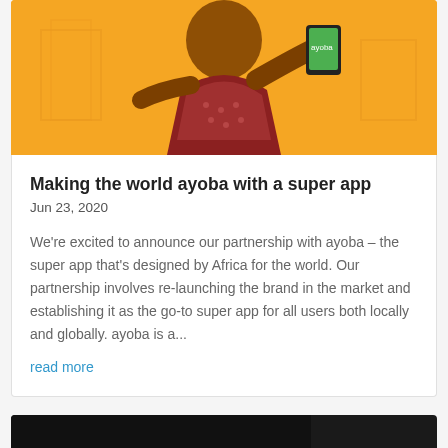[Figure (illustration): Top portion of a card showing an animated character (woman in patterned top holding a smartphone) on an orange/yellow background — cropped at top of page]
Making the world ayoba with a super app
Jun 23, 2020
We're excited to announce our partnership with ayoba – the super app that's designed by Africa for the world. Our partnership involves re-launching the brand in the market and establishing it as the go-to super app for all users both locally and globally. ayoba is a...
read more
[Figure (photo): Black and white photo showing a person wearing a knit beanie hat — partially cropped at bottom of page]